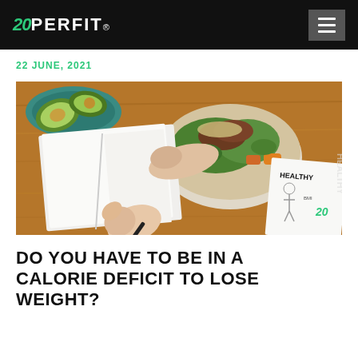20PERFIT®
22 June, 2021
[Figure (photo): Overhead view of a person writing in a blank notebook with a pen, a colorful healthy salad bowl in the background, halved avocado on a teal plate to the left, and a HEALTHY BMI chart paper visible on the right.]
DO YOU HAVE TO BE IN A CALORIE DEFICIT TO LOSE WEIGHT?